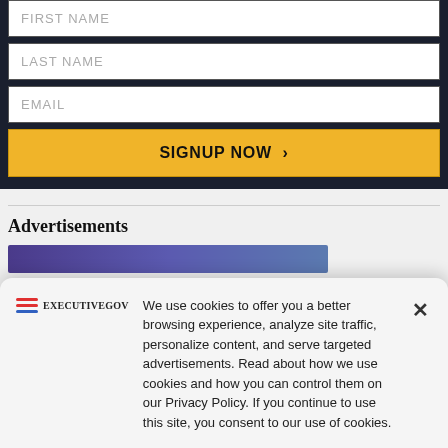[Figure (screenshot): Web form with FIRST NAME, LAST NAME, EMAIL fields and SIGNUP NOW button on dark background]
Advertisements
[Figure (screenshot): Advertisement banner with purple/blue gradient]
We use cookies to offer you a better browsing experience, analyze site traffic, personalize content, and serve targeted advertisements. Read about how we use cookies and how you can control them on our Privacy Policy. If you continue to use this site, you consent to our use of cookies.
[Figure (logo): ExecutiveGov logo with red and blue wave lines]